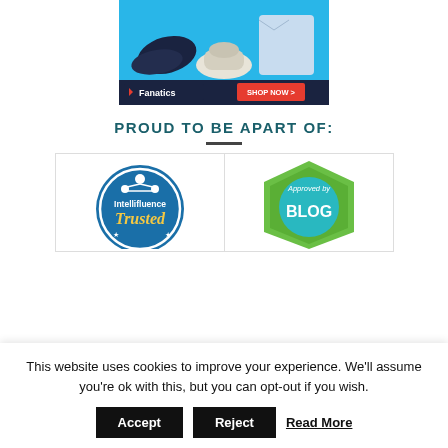[Figure (screenshot): Fanatics advertisement banner showing sports merchandise (hat, shirt, shoes) on blue background with Fanatics logo and SHOP NOW button]
PROUD TO BE APART OF:
[Figure (logo): Intellifluence Trusted badge - circular blue badge with network icon and 'Trusted' in gold cursive text]
[Figure (logo): Approved by BLOG badge - green hexagon/shield shape with teal circle containing 'BLOG' text and 'Approved by' text]
This website uses cookies to improve your experience. We'll assume you're ok with this, but you can opt-out if you wish.
Accept   Reject   Read More